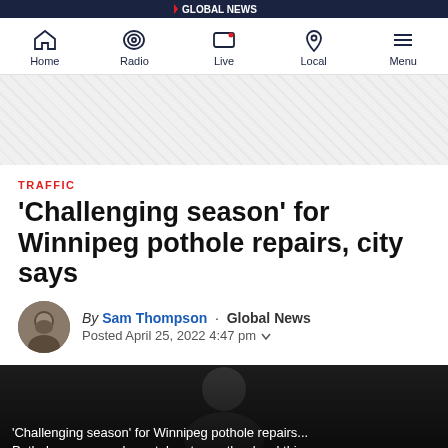Global News
Home · Radio · Live · Local · Menu
[Figure (other): Advertisement placeholder with diagonal stripe pattern]
TRAFFIC
'Challenging season' for Winnipeg pothole repairs, city says
By Sam Thompson · Global News
Posted April 25, 2022 4:47 pm
[Figure (screenshot): Video thumbnail showing a dark scene with caption: 'Challenging season' for Winnipeg pothole repairs... Pothole season as been taken to another level thi...]